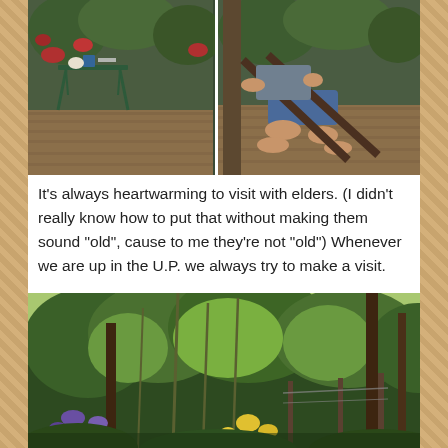[Figure (photo): Two-panel photo: left panel shows a green folding table on a wooden deck with flowers in background; right panel shows a person relaxing in a chair on a deck wearing shorts and a sleeveless shirt]
It's always heartwarming to visit with elders. (I didn't really know how to put that without making them sound "old", cause to me they're not "old") Whenever we are up in the U.P. we always try to make a visit.
At their Casita they garden and just enjoy their beautiful surroundings.  This is where they do most of their visiting in the summer.
[Figure (photo): Garden photo showing lush green vegetation including tall plants, trees, and colorful flowers (purple and yellow) in a natural garden setting]